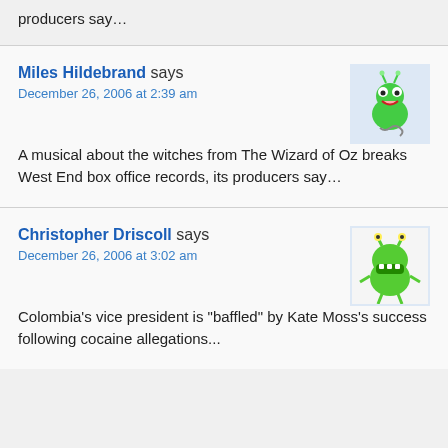producers say…
Miles Hildebrand says
December 26, 2006 at 2:39 am
A musical about the witches from The Wizard of Oz breaks West End box office records, its producers say…
Christopher Driscoll says
December 26, 2006 at 3:02 am
Colombia's vice president is "baffled" by Kate Moss's success following cocaine allegations...